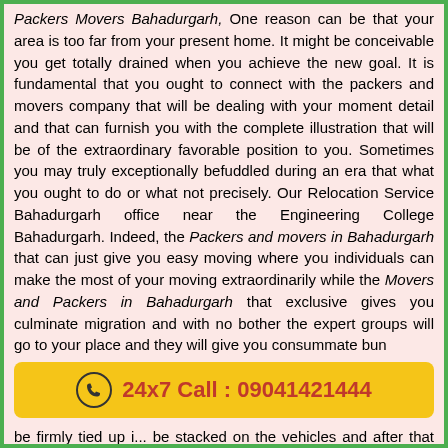Packers Movers Bahadurgarh, One reason can be that your area is too far from your present home. It might be conceivable you get totally drained when you achieve the new goal. It is fundamental that you ought to connect with the packers and movers company that will be dealing with your moment detail and that can furnish you with the complete illustration that will be of the extraordinary favorable position to you. Sometimes you may truly exceptionally befuddled during an era that what you ought to do or what not precisely. Our Relocation Service Bahadurgarh office near the Engineering College Bahadurgarh. Indeed, the Packers and movers in Bahadurgarh that can just give you easy moving where you individuals can make the most of your moving extraordinarily while the Movers and Packers in Bahadurgarh that exclusive gives you culminate migration and with no bother the expert groups will go to your place and they will give you consummate bun... be firmly tied up i... be stacked on the vehicles and after that that will become to effectively at your new goal.
[Figure (infographic): Yellow banner with phone icon and text: 24x7 Call : 09041421444]
packers and movers, packers and movers near me, movers and packers, packers movers, best movers and packers near me, Local Packers and Movers, movers and packers rate, packers and movers cost, professional packers and movers, Agarwal Packers and